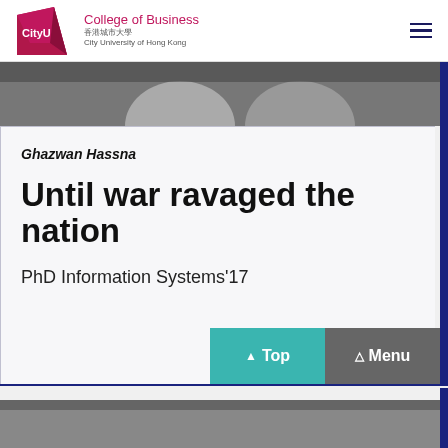CityU College of Business 香港城市大學 City University of Hong Kong
[Figure (photo): Partial photo strip showing persons, cropped at top]
Ghazwan Hassna
Until war ravaged the nation
PhD Information Systems'17
[Figure (screenshot): Top and Menu navigation buttons]
[Figure (photo): Photo strip at bottom of page, partially visible]